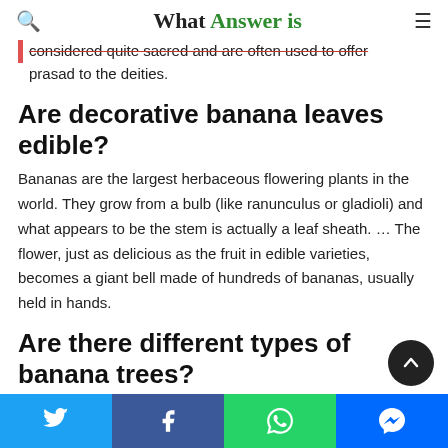What Answer is
considered quite sacred and are often used to offer prasad to the deities.
Are decorative banana leaves edible?
Bananas are the largest herbaceous flowering plants in the world. They grow from a bulb (like ranunculus or gladioli) and what appears to be the stem is actually a leaf sheath. … The flower, just as delicious as the fruit in edible varieties, becomes a giant bell made of hundreds of bananas, usually held in hands.
Are there different types of banana trees?
Twitter | Facebook | WhatsApp | Messenger